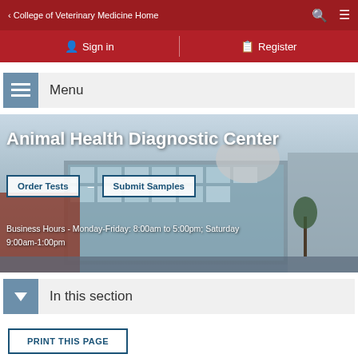< College of Veterinary Medicine Home
Sign in
Register
Menu
[Figure (photo): Animal Health Diagnostic Center building exterior photo with hero text overlay, Order Tests and Submit Samples buttons, and business hours text]
Animal Health Diagnostic Center
Order Tests
Submit Samples
Business Hours - Monday-Friday: 8:00am to 5:00pm; Saturday: 9:00am-1:00pm
In this section
PRINT THIS PAGE